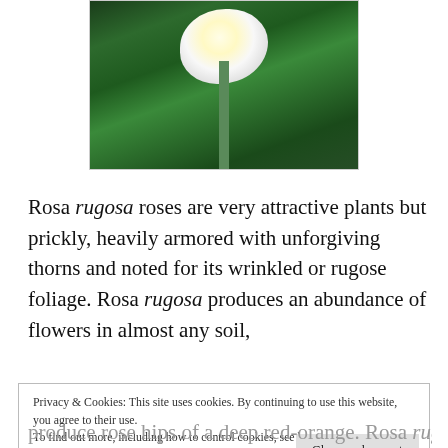[Figure (photo): A white Rosa rugosa flower with yellow center surrounded by dark green leaves]
Rosa rugosa roses are very attractive plants but prickly, heavily armored with unforgiving thorns and noted for its wrinkled or rugose foliage. Rosa rugosa produces an abundance of flowers in almost any soil,
Privacy & Cookies: This site uses cookies. By continuing to use this website, you agree to their use.
To find out more, including how to control cookies, see here:
Cookie Policy
[Close and accept]
produce rose hips of a deep red-orange. Rosa rugosa